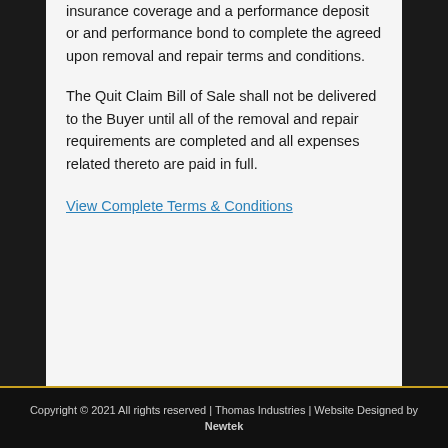insurance coverage and a performance deposit or and performance bond to complete the agreed upon removal and repair terms and conditions.
The Quit Claim Bill of Sale shall not be delivered to the Buyer until all of the removal and repair requirements are completed and all expenses related thereto are paid in full.
View Complete Terms & Conditions
Copyright © 2021 All rights reserved | Thomas Industries | Website Designed by Newtek